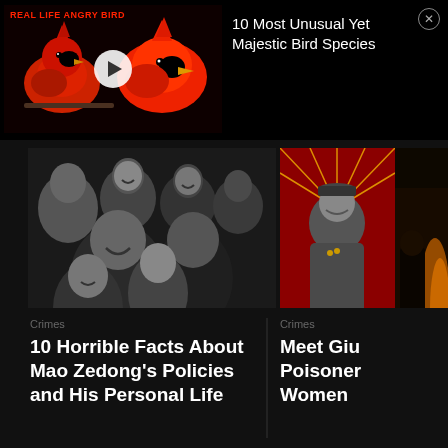[Figure (screenshot): Ad banner showing two red cardinal birds (angry bird style) on dark background with play button, labeled REAL LIFE ANGRY BIRD]
10 Most Unusual Yet Majestic Bird Species
[Figure (photo): Black and white historical photo of Mao Zedong surrounded by smiling women and children, alongside a red propaganda poster of Mao, and a dark image partially visible on the right]
Crimes
10 Horrible Facts About Mao Zedong's Policies and His Personal Life
Crimes
Meet Giu Poisoner Women